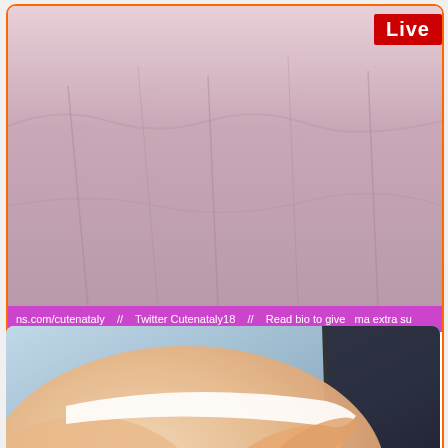[Figure (screenshot): Live stream preview showing pink/mauve fabric or backdrop, with a red 'Live' badge in top right corner]
ns.com/cutenataly  //  Twitter Cutenataly18  //  Read bio to give  ma extra su
cutenataly
❤ Panties tease at Goal!❤ /vipmenu /tipmenu OF cutenataly tip 1223 to
🕐 1 hour, 271 viewers
[Figure (photo): Close-up photo showing skin and white underwear/thong with hand touching it, blue surface visible in background, dark fingernails visible]